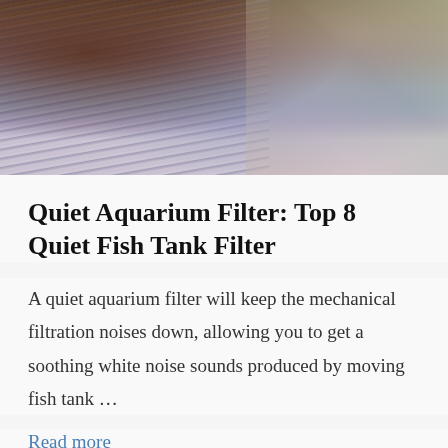[Figure (photo): Top portion of a decorative or lifestyle photo showing a person in patterned blue and white clothing with colorful items visible on the right side]
Quiet Aquarium Filter: Top 8 Quiet Fish Tank Filter
A quiet aquarium filter will keep the mechanical filtration noises down, allowing you to get a soothing white noise sounds produced by moving fish tank …
Read more
[Figure (photo): Bottom portion of another photo showing outdoor/garden scene with greenery and structural elements]